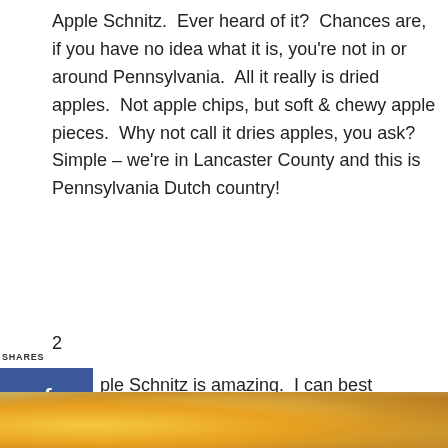Apple Schnitz.  Ever heard of it?  Chances are, if you have no idea what it is, you're not in or around Pennsylvania.  All it really is dried apples.  Not apple chips, but soft & chewy apple pieces.  Why not call it dries apples, you ask?  Simple – we're in Lancaster County and this is Pennsylvania Dutch country!
2
SHARES
[Figure (other): Social sharing sidebar buttons: Facebook (f), Twitter (bird), Pinterest (P)]
Apple Schnitz is amazing.  I can best describe it as Natures Candy.  So sweet, so delicious yet so nutritious.  We enjoy it best eaten plain as a snack.  My daughters become magicians with a bag of apple schnitz and make it disappear quickly – it's really that good.
[Figure (photo): Photo of apple schnitz (dried apples) showing golden-yellow dried apple pieces]